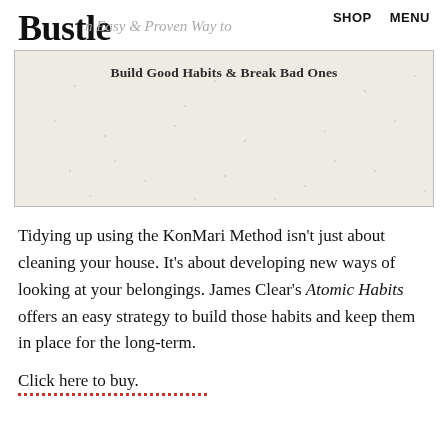Bustle  SHOP  MENU
[Figure (illustration): Book cover image area with subtitle 'Build Good Habits & Break Bad Ones' and author name 'James Clear' on a textured beige background]
Tidying up using the KonMari Method isn't just about cleaning your house. It's about developing new ways of looking at your belongings. James Clear's Atomic Habits offers an easy strategy to build those habits and keep them in place for the long-term.
Click here to buy.